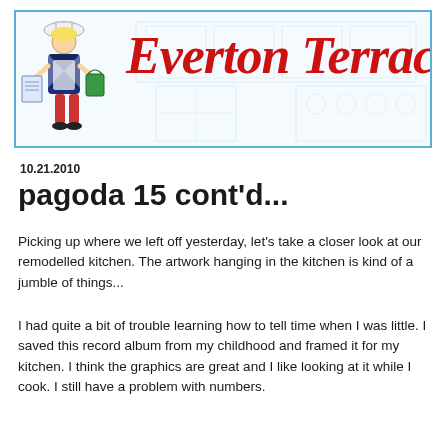[Figure (illustration): Everton Terrace blog header banner with a cartoon lady holding kitchen items on the left and the cursive red text 'Everton Terrace' on a light blue kitchen sketch background, framed with a light blue border.]
10.21.2010
pagoda 15 cont'd...
Picking up where we left off yesterday, let's take a closer look at our remodelled kitchen.  The artwork hanging in the kitchen is kind of a jumble of things...
I had quite a bit of trouble learning how to tell time when I was little.  I saved this record album from my childhood and framed it for my kitchen.  I think the graphics are great and I like looking at it while I cook.  I still have a problem with numbers.